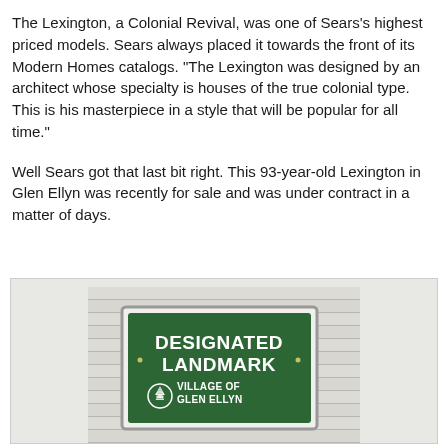The Lexington, a Colonial Revival, was one of Sears's highest priced models. Sears always placed it towards the front of its Modern Homes catalogs. "The Lexington was designed by an architect whose specialty is houses of the true colonial type. This is his masterpiece in a style that will be popular for all time."
Well Sears got that last bit right. This 93-year-old Lexington in Glen Ellyn was recently for sale and was under contract in a matter of days.
[Figure (photo): A green rectangular sign mounted on white siding that reads 'DESIGNATED LANDMARK' in bold white text, with a Village of Glen Ellyn logo and text below.]